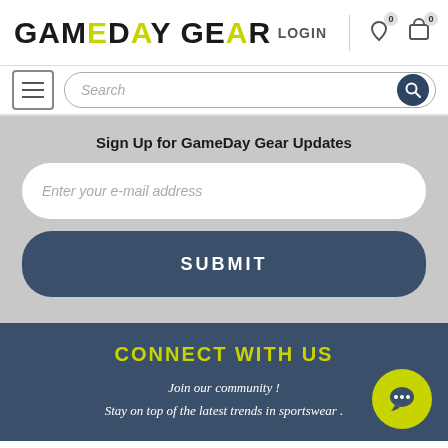GAMEDAY GEAR — LOGIN
Search
Sign Up for GameDay Gear Updates
Enter your e-mail address
SUBMIT
CONNECT WITH US
Join our community ! Stay on top of the latest trends in sportswear .